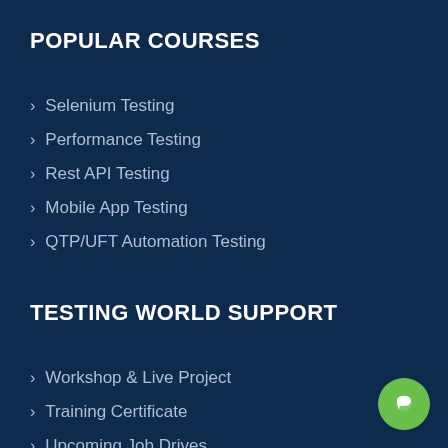POPULAR COURSES
Selenium Testing
Performance Testing
Rest API Testing
Mobile App Testing
QTP/UFT Automation Testing
TESTING WORLD SUPPORT
Workshop & Live Project
Training Certificate
Upcoming Job Drives
Internship Project